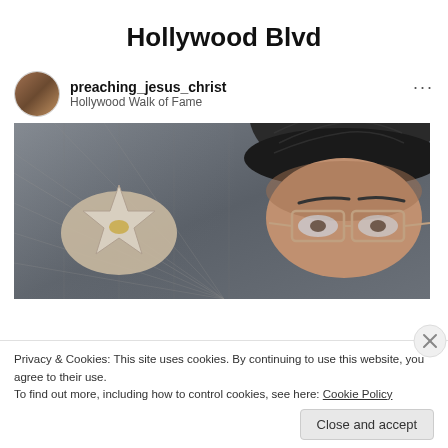Hollywood Blvd
preaching_jesus_christ
Hollywood Walk of Fame
[Figure (photo): Selfie photo at the Hollywood Walk of Fame showing a pink star on the sidewalk on the left and a man wearing a dark flat cap and glasses on the right side of the frame.]
Privacy & Cookies: This site uses cookies. By continuing to use this website, you agree to their use.
To find out more, including how to control cookies, see here: Cookie Policy